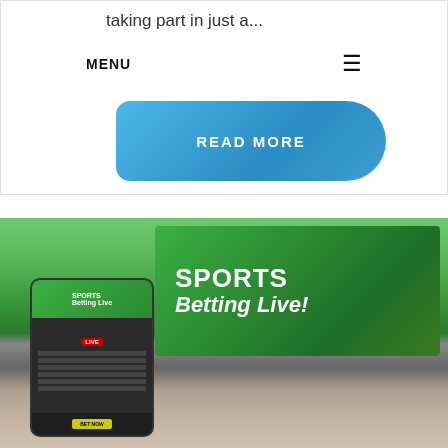taking part in just a...
MENU
[Figure (illustration): Blue rounded READ MORE button]
[Figure (photo): Man holding smartphone with sports betting app open, laptop showing SPORTS Betting Live! website in the background]